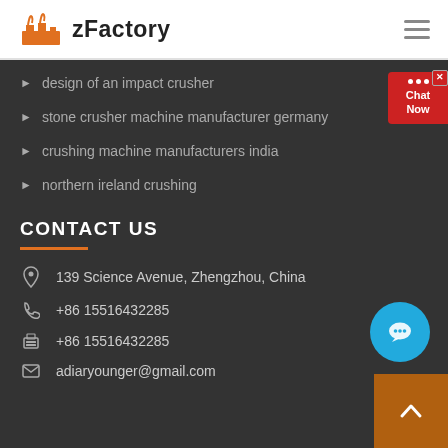zFactory
design of an impact crusher
stone crusher machine manufacturer germany
crushing machine manufacturers india
northern ireland crushing
CONTACT US
139 Science Avenue, Zhengzhou, China
+86 15516432285
+86 15516432285
adiaryounger@gmail.com